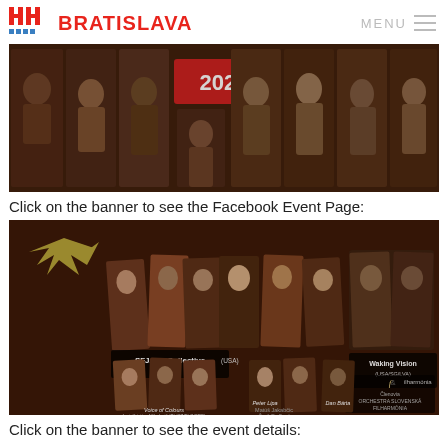BRATISLAVA | MENU
[Figure (photo): Jazz festival banner showing collage of musician portraits with '2022' text on dark brown background]
Click on the banner to see the Facebook Event Page:
[Figure (photo): Jazz festival event poster with dark brown background showing musician photo cards. Text includes: SFJAZZ Collective (USA), Waking Vision (USA/SG/LVA), & Filharmonia, Členovia ORCHESTRA SLOVENSKÁ FILHARMÓNIA, Voice of Colours feat. Kristína Mihalovič (PL/CZ/ELG/SRB), Peter Lipa, Matúš Jakabčíc Česík Big Band, Dan Bárta]
Click on the banner to see the event details: